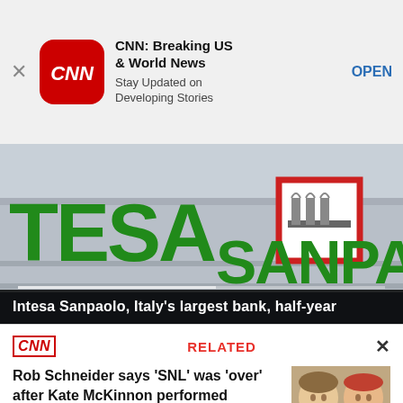[Figure (screenshot): CNN app advertisement banner with CNN logo icon, title 'CNN: Breaking US & World News', subtitle 'Stay Updated on Developing Stories', and OPEN button]
[Figure (photo): Photograph of Intesa Sanpaolo bank building sign showing green letters 'TESA' on the left, a red-bordered logo box in the center, and 'SANPAOLO' in green letters on the right]
Intesa Sanpaolo, Italy's largest bank, half-year
CNN RELATED ×
Rob Schneider says 'SNL' was 'over' after Kate McKinnon performed 'Hallelujah' as Hillary Clinton